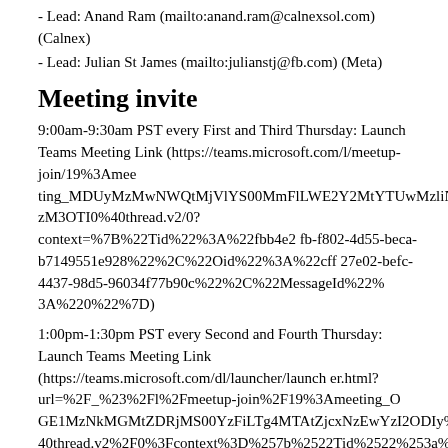- Lead: Anand Ram (mailto:anand.ram@calnexsol.com) (Calnex)
- Lead: Julian St James (mailto:julianstj@fb.com) (Meta)
Meeting invite
9:00am-9:30am PST every First and Third Thursday: Launch Teams Meeting Link (https://teams.microsoft.com/l/meetup-join/19%3Ameeting_MDUyMzMwNWQtMjVlYS00MmFlLWE2Y2MtYTUwMzliNzM3OTI0%40thread.v2/0?context=%7B%22Tid%22%3A%22fbb4e2fb-f802-4d55-beca-b7149551e928%22%2C%22Oid%22%3A%22cff27e02-befc-4437-98d5-96034f77b90c%22%2C%22MessageId%22%3A%220%22%7D)
1:00pm-1:30pm PST every Second and Fourth Thursday: Launch Teams Meeting Link (https://teams.microsoft.com/dl/launcher/launcher.html?url=%2F_%23%2Fl%2Fmeetup-join%2F19%3Ameeting_OGE1MzNkMGMtZDRjMS00YzFiLTg4MTAtZjcxNzEwYzI2ODIy%40thread.v2%2F0%3Fcontext%3D%257b%2522Tid%2522%253a%2522fbb4e2fb-f802-4d55-beca-b7149551e928%2522%252c%2522Oid%2522%253a%2522cff27e02-befc-4437-98d5-96034f77b90c%2522%257d%26anon%3Dtrue&type=meetup-join&deeplinkId=5f0bbd41-a286-4e8b-b786-5162812cfe21&directDl=true&msLaunch=true&enableMobilePage=true&suppressPrompt=true)